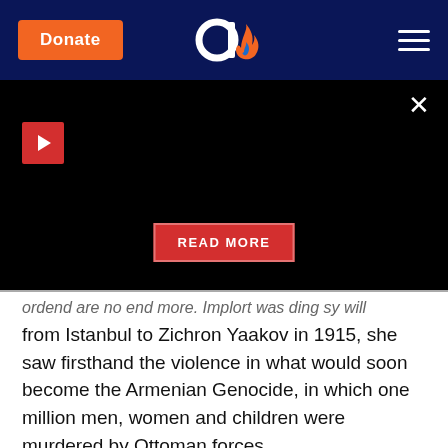Donate | [Aish logo] | Menu
[Figure (screenshot): Black video player area with red play button, close X button, and red READ MORE button overlay]
from Istanbul to Zichron Yaakov in 1915, she saw firsthand the violence in what would soon become the Armenian Genocide, in which one million men, women and children were murdered by Ottoman forces.
By then World War I was in full force, with Turkey fighting on the side of Germany. Sarah Aaronsohn was convinced that if they won the war, Turkey would kill the regions Jews, just as they had murdered their